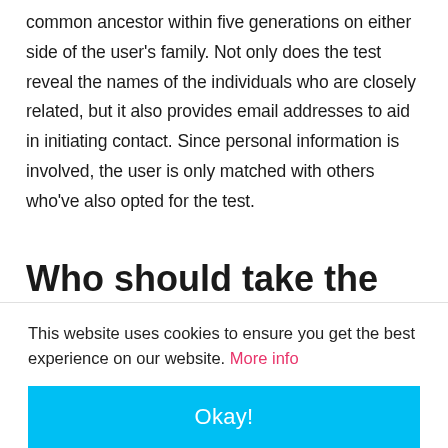common ancestor within five generations on either side of the user's family. Not only does the test reveal the names of the individuals who are closely related, but it also provides email addresses to aid in initiating contact. Since personal information is involved, the user is only matched with others who've also opted for the test.
Who should take the
This website uses cookies to ensure you get the best experience on our website. More info
Okay!